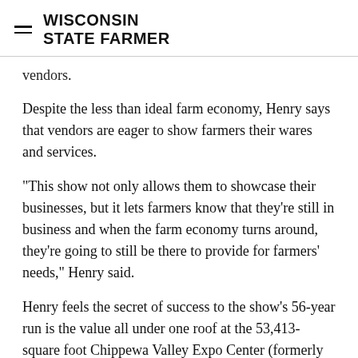WISCONSIN STATE FARMER
vendors.
Despite the less than ideal farm economy, Henry says that vendors are eager to show farmers their wares and services.
"This show not only allows them to showcase their businesses, but it lets farmers know that they're still in business and when the farm economy turns around, they're going to still be there to provide for farmers' needs," Henry said.
Henry feels the secret of success to the show's 56-year run is the value all under one roof at the 53,413-square foot Chippewa Valley Expo Center (formerly known as the Menards Conference Center).